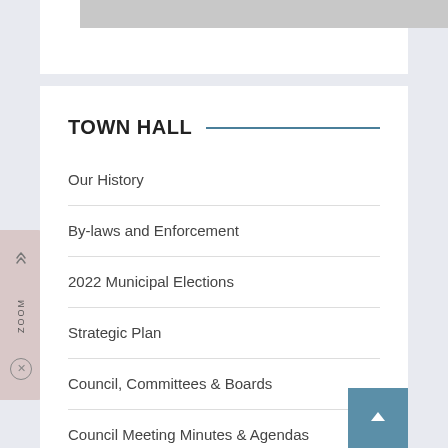TOWN HALL
Our History
By-laws and Enforcement
2022 Municipal Elections
Strategic Plan
Council, Committees & Boards
Council Meeting Minutes & Agendas